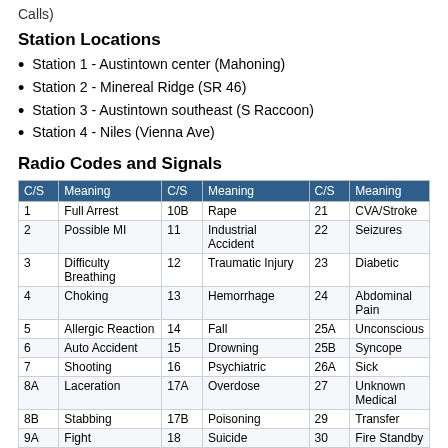Calls)
Station Locations
Station 1 - Austintown center (Mahoning)
Station 2 - Minereal Ridge (SR 46)
Station 3 - Austintown southeast (S Raccoon)
Station 4 - Niles (Vienna Ave)
Radio Codes and Signals
| C/S | Meaning | C/S | Meaning | C/S | Meaning |
| --- | --- | --- | --- | --- | --- |
| 1 | Full Arrest | 10B | Rape | 21 | CVA/Stroke |
| 2 | Possible MI | 11 | Industrial Accident | 22 | Seizures |
| 3 | Difficulty Breathing | 12 | Traumatic Injury | 23 | Diabetic |
| 4 | Choking | 13 | Hemorrhage | 24 | Abdominal Pain |
| 5 | Allergic Reaction | 14 | Fall | 25A | Unconscious |
| 6 | Auto Accident | 15 | Drowning | 25B | Syncope |
| 7 | Shooting | 16 | Psychiatric | 26A | Sick |
| 8A | Laceration | 17A | Overdose | 27 | Unknown Medical |
| 8B | Stabbing | 17B | Poisoning | 29 | Transfer |
| 9A | Fight | 18 | Suicide | 30 | Fire Standby |